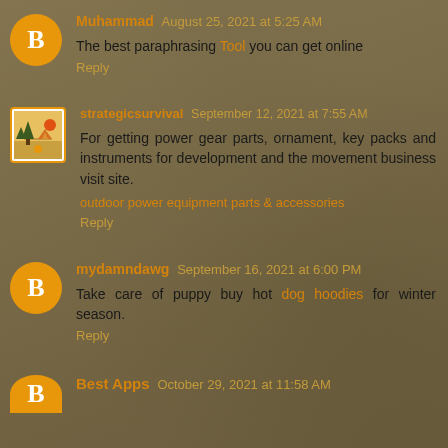Muhammad  August 25, 2021 at 5:25 AM
The best paraphrasing Tool you can get online
Reply
strategicsurvival  September 12, 2021 at 7:55 AM
For getting power gear parts, ornament, key packs and instruments for development and the movement business visit site.
outdoor power equipment parts & accessories
Reply
mydamndawg  September 16, 2021 at 6:00 PM
Take care of puppy buy hot dog hoodies for winter season.
Reply
Best Apps  October 29, 2021 at 11:58 AM